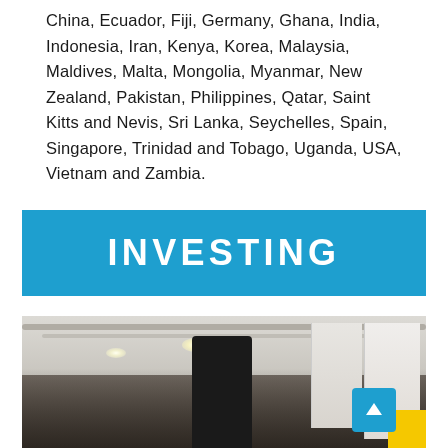China, Ecuador, Fiji, Germany, Ghana, India, Indonesia, Iran, Kenya, Korea, Malaysia, Maldives, Malta, Mongolia, Myanmar, New Zealand, Pakistan, Philippines, Qatar, Saint Kitts and Nevis, Sri Lanka, Seychelles, Spain, Singapore, Trinidad and Tobago, Uganda, USA, Vietnam and Zambia.
INVESTING
[Figure (photo): Interior photo of a conference or exhibition space showing people gathered, display banners/posters on the right side, ceiling lights and pipes visible, a dark screen device in the center foreground]